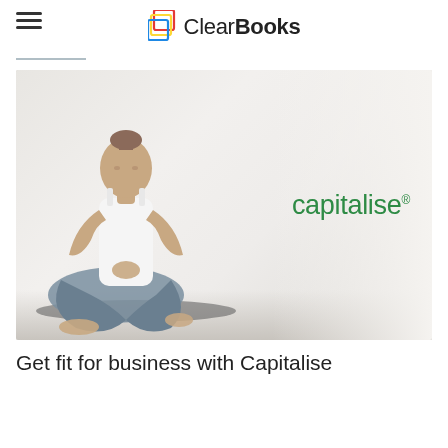ClearBooks
[Figure (photo): Woman sitting in yoga/meditation pose on a dark mat in a white studio, with the capitalise® logo overlaid on the right side of the image.]
Get fit for business with Capitalise